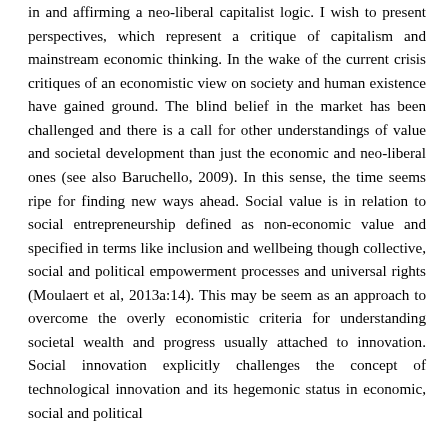in and affirming a neo-liberal capitalist logic. I wish to present perspectives, which represent a critique of capitalism and mainstream economic thinking. In the wake of the current crisis critiques of an economistic view on society and human existence have gained ground. The blind belief in the market has been challenged and there is a call for other understandings of value and societal development than just the economic and neo-liberal ones (see also Baruchello, 2009). In this sense, the time seems ripe for finding new ways ahead. Social value is in relation to social entrepreneurship defined as non-economic value and specified in terms like inclusion and wellbeing though collective, social and political empowerment processes and universal rights (Moulaert et al, 2013a:14). This may be seem as an approach to overcome the overly economistic criteria for understanding societal wealth and progress usually attached to innovation. Social innovation explicitly challenges the concept of technological innovation and its hegemonic status in economic, social and political